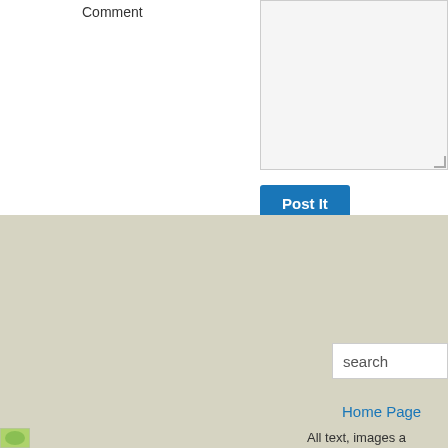Comment
[Figure (screenshot): Comment textarea input field with light gray background]
[Figure (screenshot): Post It button - blue rounded button with white bold text]
[Figure (screenshot): Search input box with placeholder text 'search']
Home Page
All text, images a
Site designed ar
[Figure (illustration): Small green leaf/plant icon at bottom left]